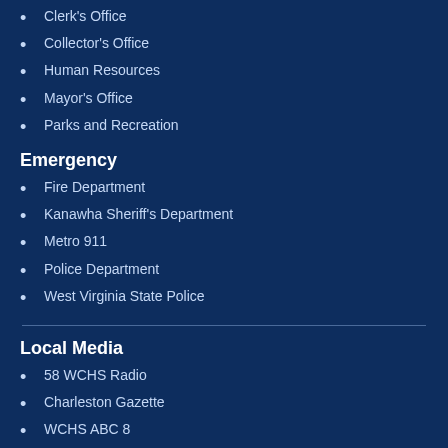Clerk's Office
Collector's Office
Human Resources
Mayor's Office
Parks and Recreation
Emergency
Fire Department
Kanawha Sheriff's Department
Metro 911
Police Department
West Virginia State Police
Local Media
58 WCHS Radio
Charleston Gazette
WCHS ABC 8
WOWK 13 News
WSAZ News Channel 3
WTSO 88.1FM